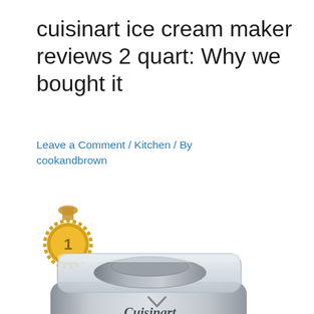cuisinart ice cream maker reviews 2 quart: Why we bought it
Leave a Comment / Kitchen / By cookandbrown
[Figure (photo): A gold #1 medal badge above a Cuisinart stainless steel 2-quart Frozen Yogurt-Sorbet & Ice Cream Maker appliance with a transparent lid]